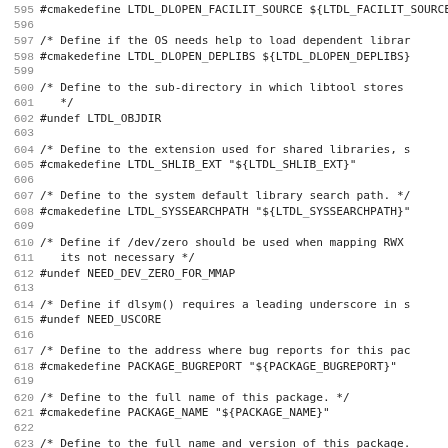Source code / configuration header file (CMake-generated), lines 595–627, showing C preprocessor define/undef directives for ltdl and package-related macros.